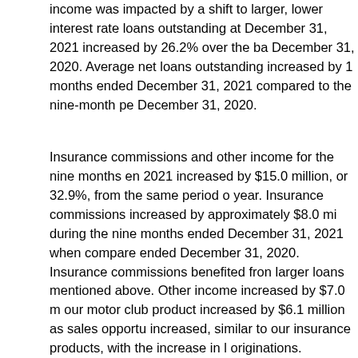income was impacted by a shift to larger, lower interest rate loans outstanding at December 31, 2021 increased by 26.2% over the balance at December 31, 2020. Average net loans outstanding increased by 1 months ended December 31, 2021 compared to the nine-month period ended December 31, 2020.
Insurance commissions and other income for the nine months ended 2021 increased by $15.0 million, or 32.9%, from the same period of the prior year. Insurance commissions increased by approximately $8.0 million during the nine months ended December 31, 2021 when compared to the period ended December 31, 2020. Insurance commissions benefited from the larger loans mentioned above. Other income increased by $7.0 million as our motor club product increased by $6.1 million as sales opportunities increased, similar to our insurance products, with the increase in loan originations. Revenue from our tax preparation business increased million during the first three quarters of fiscal 2022 from $3.0 million during the first three quarters of fiscal 2021, or 43.5%. This was largely driven by a delay in the individual income tax filing season which resulted in a greater number of tax preparations being completed in the first quarter of